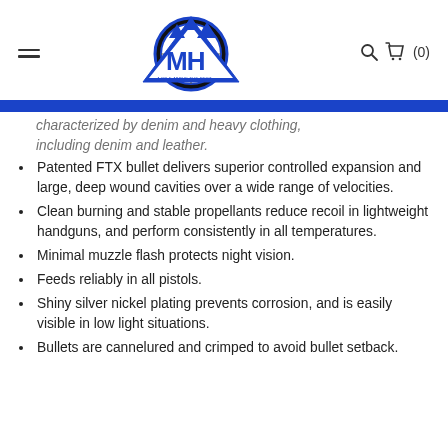MHW logo, hamburger menu, search icon, cart (0)
characterized by denim and heavy clothing, including denim and leather.
Patented FTX bullet delivers superior controlled expansion and large, deep wound cavities over a wide range of velocities.
Clean burning and stable propellants reduce recoil in lightweight handguns, and perform consistently in all temperatures.
Minimal muzzle flash protects night vision.
Feeds reliably in all pistols.
Shiny silver nickel plating prevents corrosion, and is easily visible in low light situations.
Bullets are cannelured and crimped to avoid bullet setback.